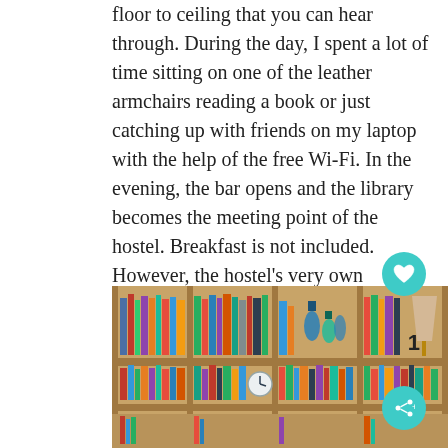floor to ceiling that you can hear through. During the day, I spent a lot of time sitting on one of the leather armchairs reading a book or just catching up with friends on my laptop with the help of the free Wi-Fi. In the evening, the bar opens and the library becomes the meeting point of the hostel. Breakfast is not included. However, the hostel's very own Grandwich Bar just next door to the hostel offers a good breakfast, variety of delicious sandwiches, paninis and traditional German food at decent prices.
[Figure (photo): Wooden bookshelf filled with books and decorative items such as bottles and a lamp, photographed from the front.]